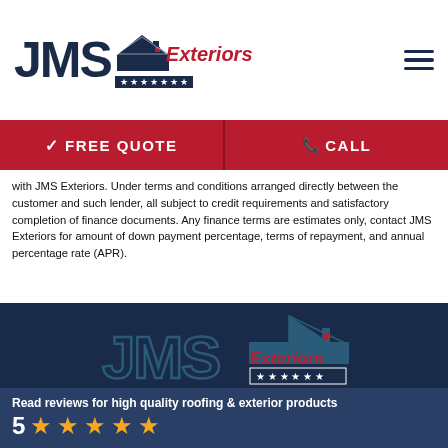[Figure (logo): JMS Exteriors logo with house roof graphic and five-star bar, in header]
FREE QUOTE | CALL
with JMS Exteriors. Under terms and conditions arranged directly between the customer and such lender, all subject to credit requirements and satisfactory completion of finance documents. Any finance terms are estimates only, contact JMS Exteriors for amount of down payment percentage, terms of repayment, and annual percentage rate (APR).
[Figure (logo): JMS Exteriors logo displayed on dark navy background in footer]
[Figure (infographic): Social media icons row: Facebook, YouTube, Twitter, Instagram]
Read reviews for high quality roofing & exterior products
5 ★★★★★